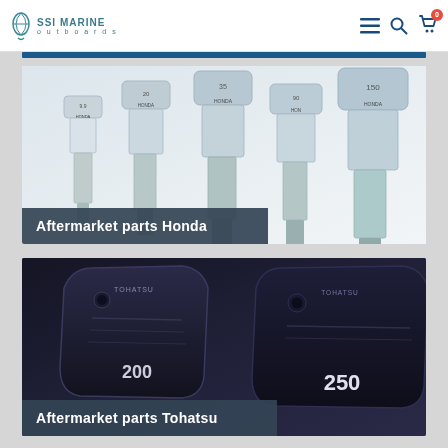SSI MARINE outboards
[Figure (photo): Multiple Honda outboard motors lined up in a row, silver/white color, various sizes from small (9.9 HP) to large (150 HP), with a dark blue banner overlay reading 'Aftermarket parts Honda']
Aftermarket parts Honda
[Figure (photo): Tohatsu outboard motors showing dark navy blue cowling panels, with visible '250' and '200' HP markings and Tohatsu branding, with a dark blue banner overlay reading 'Aftermarket parts Tohatsu']
Aftermarket parts Tohatsu